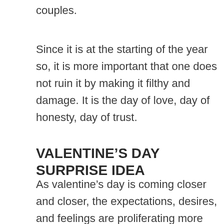couples.
Since it is at the starting of the year so, it is more important that one does not ruin it by making it filthy and damage. It is the day of love, day of honesty, day of trust.
VALENTINE’S DAY SURPRISE IDEA
As valentine’s day is coming closer and closer, the expectations, desires, and feelings are proliferating more and more.